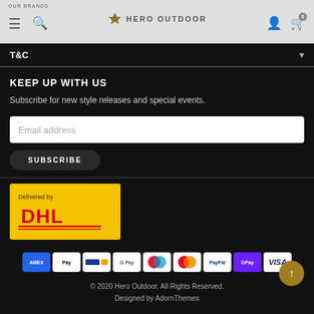OUR BRANDS — Hero Outdoor
T&C
KEEP UP WITH US
Subscribe for new style releases and special events.
Email address
SUBSCRIBE
[Figure (logo): DHL Delivered by logo on yellow background]
[Figure (infographic): Payment method icons: American Express, Apple Pay, Bank transfer, Google Pay, Maestro, Mastercard, PayPal, OPay, Visa]
© 2020 Hero Outdoor. All Rights Reserved. Designed by AdornThemes